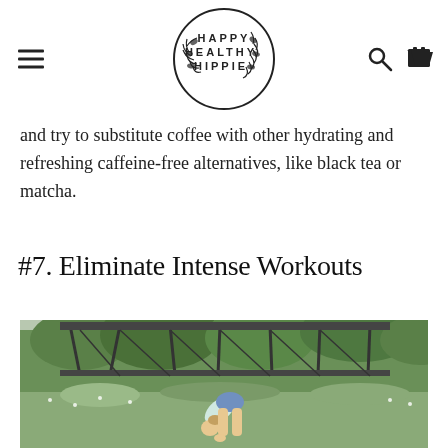Happy Healthy Hippie — site header with logo, navigation menu icon, search icon, and cart icon
and try to substitute coffee with other hydrating and refreshing caffeine-free alternatives, like black tea or matcha.
#7. Eliminate Intense Workouts
[Figure (photo): Woman doing a forward fold yoga stretch outdoors in a grassy area near a metal bridge structure, wearing light blue top and patterned shorts.]